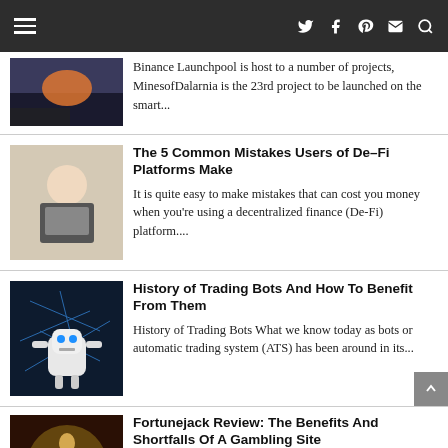Navigation bar with hamburger menu and social icons (Twitter, Facebook, Pinterest, Email, Search)
Binance Launchpool is host to a number of projects, MinesofDalarnia is the 23rd project to be launched on the smart...
The 5 Common Mistakes Users of De-Fi Platforms Make
It is quite easy to make mistakes that can cost you money when you're using a decentralized finance (De-Fi) platform....
History of Trading Bots And How To Benefit From Them
History of Trading Bots What we know today as bots or automatic trading system (ATS) has been around in its...
Fortunejack Review: The Benefits And Shortfalls Of A Gambling Site